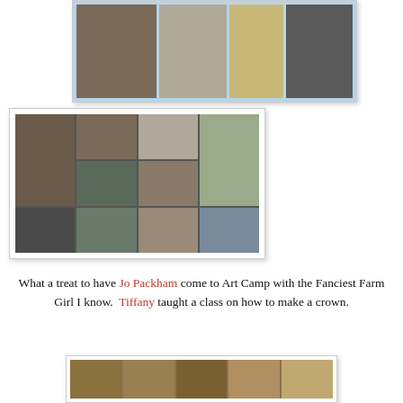[Figure (photo): Photo collage at top showing people at Art Camp, light blue background with multiple photos including two women posing, decorative items, flowers, and a woman working]
[Figure (photo): Large photo collage in middle showing multiple photos of people at an event, including a woman with glasses smiling, people holding a sign saying WE LOVE JO NATALIE, desserts, and group shots]
What a treat to have Jo Packham come to Art Camp with the Fanciest Farm Girl I know.  Tiffany taught a class on how to make a crown.
[Figure (photo): Bottom photo collage showing handmade crowns/headpieces made from natural and craft materials displayed in a row]